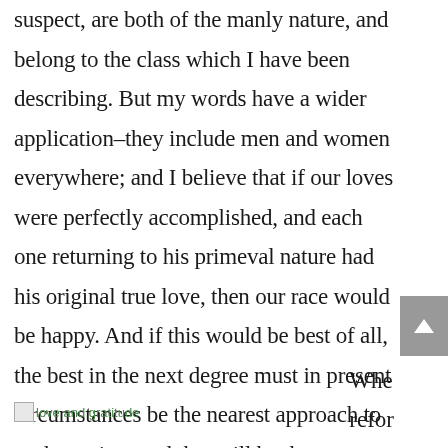suspect, are both of the manly nature, and belong to the class which I have been describing. But my words have a wider application–they include men and women everywhere; and I believe that if our loves were perfectly accomplished, and each one returning to his primeval nature had his original true love, then our race would be happy. And if this would be best of all, the best in the next degree must in present circumstances be the nearest approach to such a union; and that will be the attainment of a congenial love.
[Figure (other): Broken image placeholder with alt text 'love and gratitude']
Whe refor